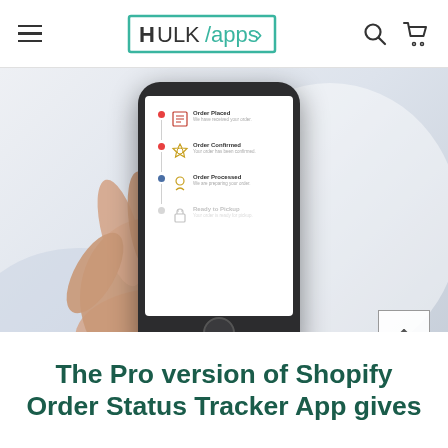HULK/apps>
[Figure (screenshot): Hand holding a smartphone displaying an order status tracker app with steps: Order Placed, Order Confirmed, Order Processed, Ready to Pickup. Background is light gray/blue gradient.]
The Pro version of Shopify Order Status Tracker App gives